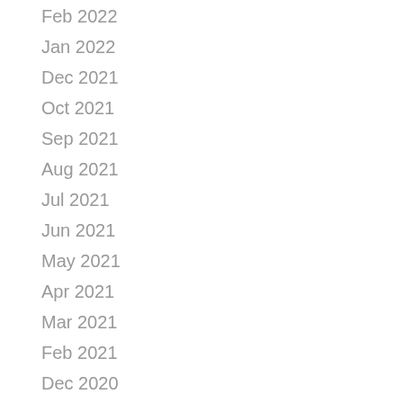Feb 2022
Jan 2022
Dec 2021
Oct 2021
Sep 2021
Aug 2021
Jul 2021
Jun 2021
May 2021
Apr 2021
Mar 2021
Feb 2021
Dec 2020
Sep 2020
Aug 2020